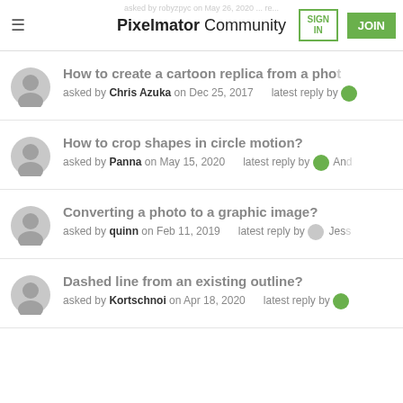Pixelmator Community | SIGN IN | JOIN
How to create a cartoon replica from a photo — asked by Chris Azuka on Dec 25, 2017 — latest reply by
How to crop shapes in circle motion? — asked by Panna on May 15, 2020 — latest reply by And
Converting a photo to a graphic image? — asked by quinn on Feb 11, 2019 — latest reply by Jess
Dashed line from an existing outline? — asked by Kortschnoi on Apr 18, 2020 — latest reply by